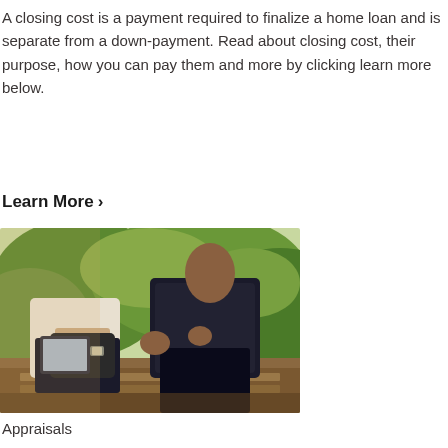A closing cost is a payment required to finalize a home loan and is separate from a down-payment. Read about closing cost, their purpose, how you can pay them and more by clicking learn more below.
Learn More ›
[Figure (photo): Two people sitting outdoors, one holding a tablet device, appearing to be in a business consultation. Greenery visible in the background.]
Appraisals